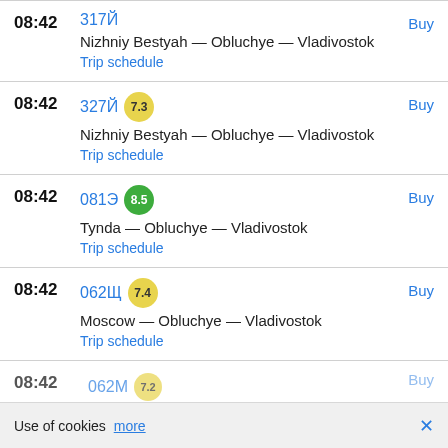08:42  317Й  Nizhniy Bestyah — Obluchye — Vladivostok  Trip schedule  Buy
08:42  327Й  7.3  Nizhniy Bestyah — Obluchye — Vladivostok  Trip schedule  Buy
08:42  081Э  8.5  Tynda — Obluchye — Vladivostok  Trip schedule  Buy
08:42  062Щ  7.4  Moscow — Obluchye — Vladivostok  Trip schedule  Buy
08:42  062М  7.2  Buy
Use of cookies  more  ×